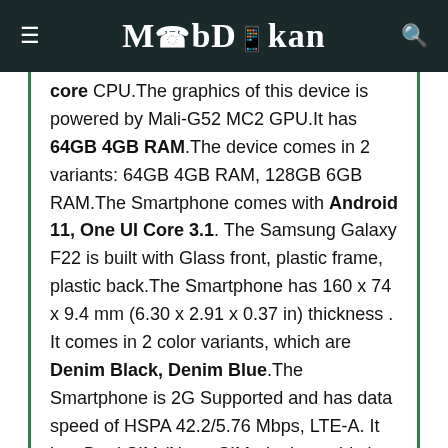MobDokan
core CPU.The graphics of this device is powered by Mali-G52 MC2 GPU.It has 64GB 4GB RAM.The device comes in 2 variants: 64GB 4GB RAM, 128GB 6GB RAM.The Smartphone comes with Android 11, One UI Core 3.1. The Samsung Galaxy F22 is built with Glass front, plastic frame, plastic back.The Smartphone has 160 x 74 x 9.4 mm (6.30 x 2.91 x 0.37 in) thickness . It comes in 2 color variants, which are Denim Black, Denim Blue.The Smartphone is 2G Supported and has data speed of HSPA 42.2/5.76 Mbps, LTE-A. It has Dual SIM (Nano-SIM, dual stand-by). Samsung Galaxy F22 has 6.4 inches display with 720 x 1600 pixels resolution. This device packs Li-Po 6000 mAh, non-removable.It supports Fast charging 15W. It has Fingerprint (side-mounted), accelerometer, gyro,